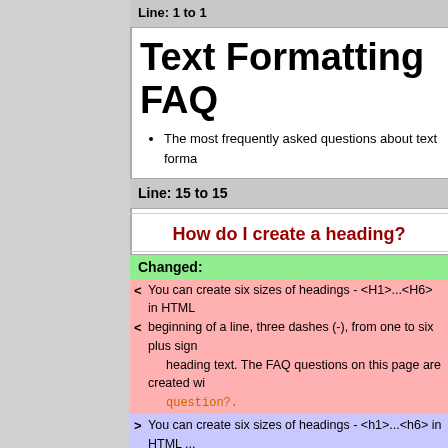Line: 1 to 1
Text Formatting FAQ
The most frequently asked questions about text forma...
Line: 15 to 15
How do I create a heading?
Changed:
< You can create six sizes of headings - <H1>...<H6> in HTML...
< beginning of a line, three dashes (-), from one to six plus sign... heading text. The FAQ questions on this page are created wi... question?.
> You can create six sizes of headings - <h1>...<h6> in HTML ...
> beginning of a line, three dashes (-), from one to six plus sign... heading text. The FAQ questions on this page are created wi... question?.
You can insert a nested table of contents, generated fr... %TOC% wherever you like on a page (see TWikiVariables...